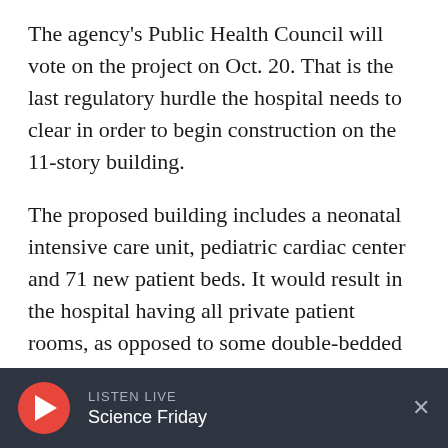The agency's Public Health Council will vote on the project on Oct. 20. That is the last regulatory hurdle the hospital needs to clear in order to begin construction on the 11-story building.
The proposed building includes a neonatal intensive care unit, pediatric cardiac center and 71 new patient beds. It would result in the hospital having all private patient rooms, as opposed to some double-bedded ones.
The project has been the subject of much public debate, largely because the building is set to be constructed on the site of the beloved Prouty
LISTEN LIVE — Science Friday